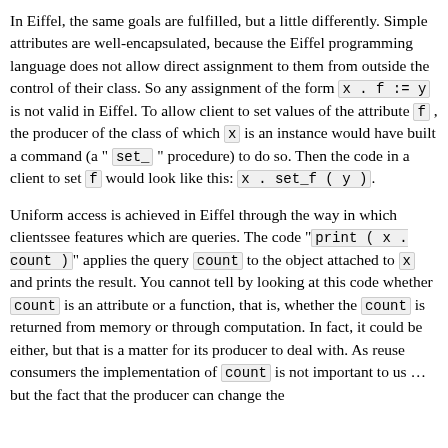In Eiffel, the same goals are fulfilled, but a little differently. Simple attributes are well-encapsulated, because the Eiffel programming language does not allow direct assignment to them from outside the control of their class. So any assignment of the form x . f := y is not valid in Eiffel. To allow client to set values of the attribute f , the producer of the class of which x is an instance would have built a command (a " set_ " procedure) to do so. Then the code in a client to set f would look like this: x . set_f ( y ).
Uniform access is achieved in Eiffel through the way in which clientssee features which are queries. The code " print ( x . count )" applies the query count to the object attached to x and prints the result. You cannot tell by looking at this code whether count is an attribute or a function, that is, whether the count is returned from memory or through computation. In fact, it could be either, but that is a matter for its producer to deal with. As reuse consumers the implementation of count is not important to us ...but the fact that the producer can change the